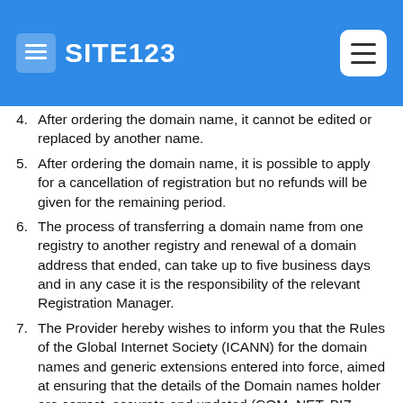SITE123
4. After ordering the domain name, it cannot be edited or replaced by another name.
5. After ordering the domain name, it is possible to apply for a cancellation of registration but no refunds will be given for the remaining period.
6. The process of transferring a domain name from one registry to another registry and renewal of a domain address that ended, can take up to five business days and in any case it is the responsibility of the relevant Registration Manager.
7. The Provider hereby wishes to inform you that the Rules of the Global Internet Society (ICANN) for the domain names and generic extensions entered into force, aimed at ensuring that the details of the Domain names holder are correct, accurate and updated (COM, NET, BIZ, ORG, NAME, INFO, MOBI, etc.). When you register a new domain